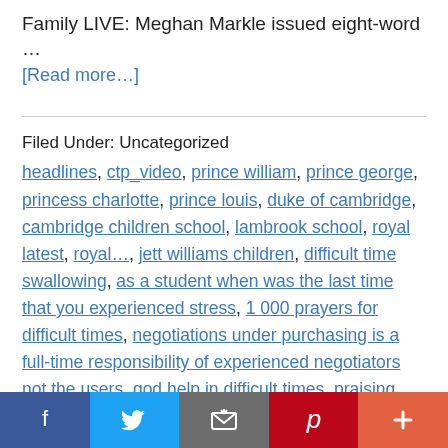Family LIVE: Meghan Markle issued eight-word …
[Read more…]
Filed Under: Uncategorized
headlines, ctp_video, prince william, prince george, princess charlotte, prince louis, duke of cambridge, cambridge children school, lambrook school, royal latest, royal…, jett williams children, difficult time swallowing, as a student when was the last time that you experienced stress, 1 000 prayers for difficult times, negotiations under purchasing is a full-time responsibility of experienced negotiators not the users, god help in difficult times, praising god in difficult times
Social share bar: Facebook, Twitter, Email, Pinterest, More